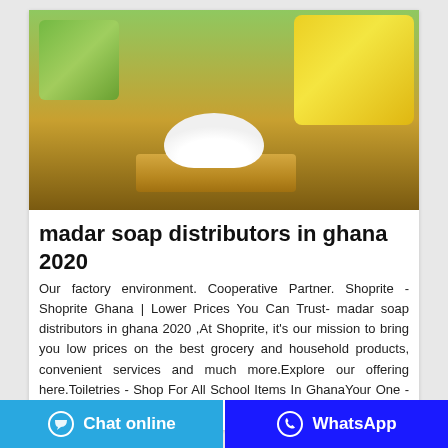[Figure (photo): Photo of a pile of white powder (soap powder) on a wooden tray, with green and yellow soap packaging bags in the background.]
madar soap distributors in ghana 2020
Our factory environment. Cooperative Partner. Shoprite - Shoprite Ghana | Lower Prices You Can Trust- madar soap distributors in ghana 2020 ,At Shoprite, it's our mission to bring you low prices on the best grocery and household products, convenient services and much more.Explore our offering here.Toiletries - Shop For All School Items In GhanaYour One -Stop -Shop For All School Items .
Chat online
WhatsApp